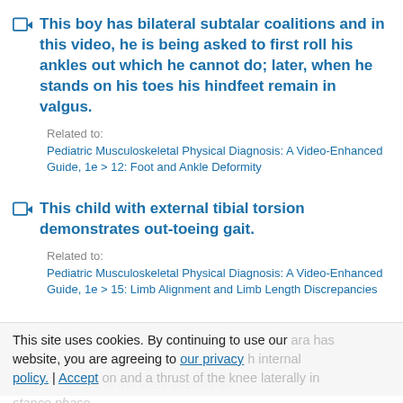This boy has bilateral subtalar coalitions and in this video, he is being asked to first roll his ankles out which he cannot do; later, when he stands on his toes his hindfeet remain in valgus.
Related to: Pediatric Musculoskeletal Physical Diagnosis: A Video-Enhanced Guide, 1e > 12: Foot and Ankle Deformity
This child with external tibial torsion demonstrates out-toeing gait.
Related to: Pediatric Musculoskeletal Physical Diagnosis: A Video-Enhanced Guide, 1e > 15: Limb Alignment and Limb Length Discrepancies
This site uses cookies. By continuing to use our website, you are agreeing to our privacy policy. | Accept